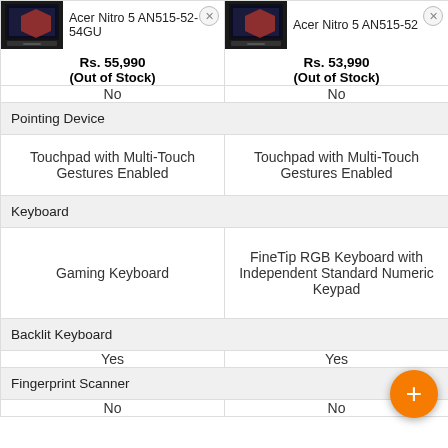| Acer Nitro 5 AN515-52-54GU — Rs. 55,990 (Out of Stock) | Acer Nitro 5 AN515-52 — Rs. 53,990 (Out of Stock) |
| --- | --- |
| No | No |
| Pointing Device |  |
| Touchpad with Multi-Touch Gestures Enabled | Touchpad with Multi-Touch Gestures Enabled |
| Keyboard |  |
| Gaming Keyboard | FineTip RGB Keyboard with Independent Standard Numeric Keypad |
| Backlit Keyboard |  |
| Yes | Yes |
| Fingerprint Scanner |  |
| No | No |